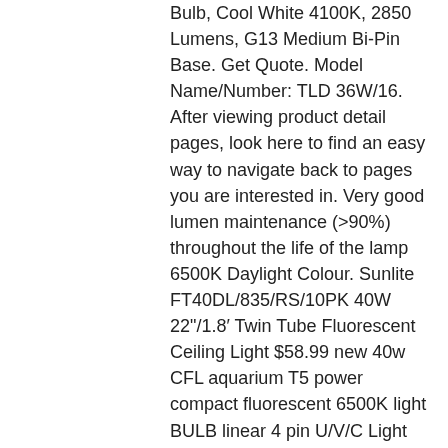Bulb, Cool White 4100K, 2850 Lumens, G13 Medium Bi-Pin Base. Get Quote. Model Name/Number: TLD 36W/16. After viewing product detail pages, look here to find an easy way to navigate back to pages you are interested in. Very good lumen maintenance (>90%) throughout the life of the lamp 6500K Daylight Colour. Sunlite FT40DL/835/RS/10PK 40W 22"/1.8’ Twin Tube Fluorescent Ceiling Light $58.99 new 40w CFL aquarium T5 power compact fluorescent 6500K light BULB linear 4 pin U/V/C Light Bulb 253.7nm wavelength Lamp E26 25w 110v Covers up to 400sq ft. Glo Aqua-Glo T8 Fluorescent Aquarium Bulb, 30-Watt, 36-Inch, GE Advantage 18 Inch Fluorescent Under Cabinet Light Fixture, Plug In Light Bar, Warm White, Metal Housing, Extra Outlet, 5 Foot Cord, Bulb Included,